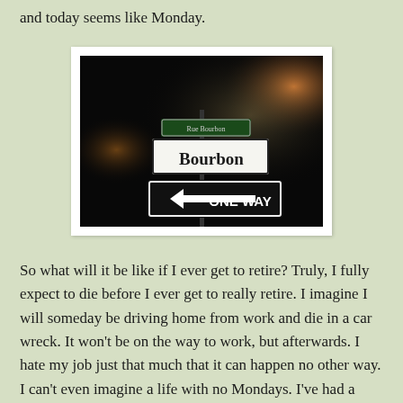and today seems like Monday.
[Figure (photo): Nighttime photo of a Bourbon Street sign and a ONE WAY arrow sign below it, illuminated against a dark background.]
So what will it be like if I ever get to retire? Truly, I fully expect to die before I ever get to really retire. I imagine I will someday be driving home from work and die in a car wreck. It won't be on the way to work, but afterwards. I hate my job just that much that it can happen no other way. I can't even imagine a life with no Mondays. I've had a "real" job since I